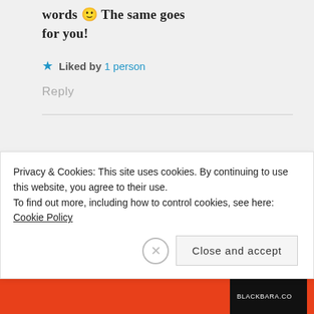words 🙂 The same goes for you!
★ Liked by 1 person
Reply
flowersinthebrain
SEPTEMBER 27, 2018 AT 6:42 AM
Thank you<3
Privacy & Cookies: This site uses cookies. By continuing to use this website, you agree to their use.
To find out more, including how to control cookies, see here:
Cookie Policy
Close and accept